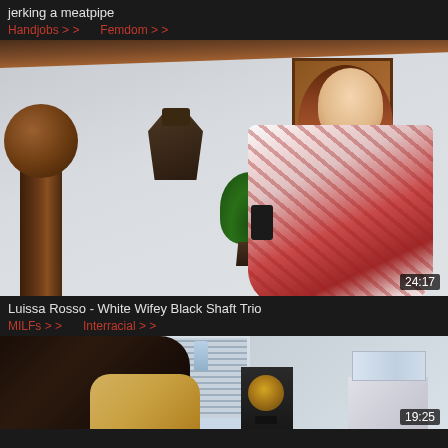jerking a meatpipe
Handjobs > Femdom >
[Figure (photo): Video thumbnail showing a woman in a red and white patterned robe in a bedroom with a wooden bedpost, wall decoration, and plant. Duration badge shows 24:17.]
Luissa Rosso - White Wifey Black Shaft Trio
MILFs > Interracial >
[Figure (photo): Video thumbnail showing a dark-skinned man with a blonde woman in a bedroom with a speaker and nightstand. Duration badge shows 19:25.]